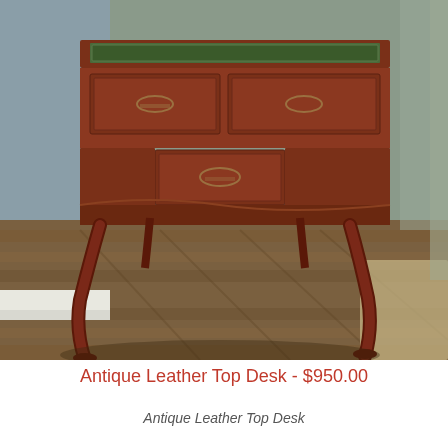[Figure (photo): Photograph of an antique mahogany leather top desk with carved cabriole legs and brass hardware, sitting on wood laminate flooring in a room with gray walls and white baseboard trim.]
Antique Leather Top Desk - $950.00
Antique Leather Top Desk